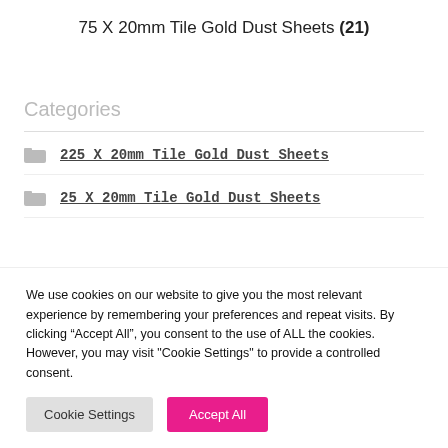75 X 20mm Tile Gold Dust Sheets (21)
Categories
225 X 20mm Tile Gold Dust Sheets
25 X 20mm Tile Gold Dust Sheets
We use cookies on our website to give you the most relevant experience by remembering your preferences and repeat visits. By clicking “Accept All”, you consent to the use of ALL the cookies. However, you may visit "Cookie Settings" to provide a controlled consent.
Cookie Settings | Accept All